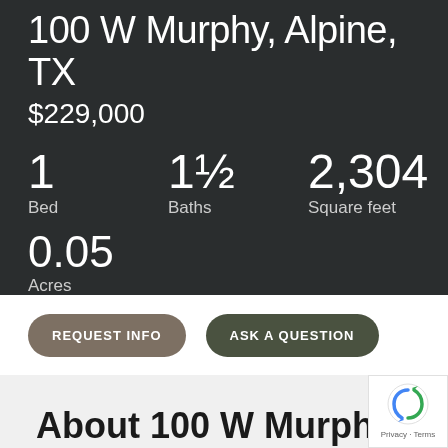100 W Murphy, Alpine, TX
$229,000
1 Bed
1½ Baths
2,304 Square feet
0.05 Acres
REQUEST INFO
ASK A QUESTION
About 100 W Murphy